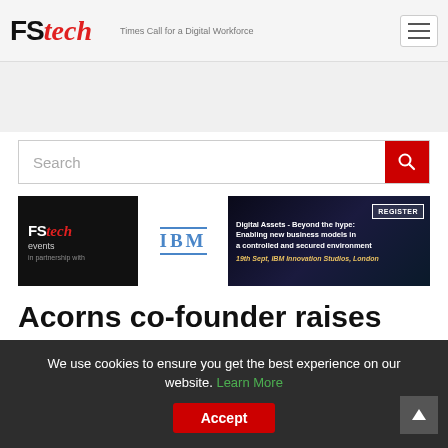FStech
[Figure (screenshot): Search bar with red search button]
[Figure (infographic): FStech events banner with IBM partnership promoting Digital Assets event at IBM Innovation Studios London, 19th Sept]
Acorns co-founder raises $20m for embedded finance platform
We use cookies to ensure you get the best experience on our website. Learn More Accept